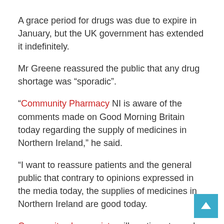A grace period for drugs was due to expire in January, but the UK government has extended it indefinitely.
Mr Greene reassured the public that any drug shortage was “sporadic”.
“Community Pharmacy NI is aware of the comments made on Good Morning Britain today regarding the supply of medicines in Northern Ireland,” he said.
“I want to reassure patients and the general public that contrary to opinions expressed in the media today, the supplies of medicines in Northern Ireland are good today.
Community pharmacists will continue to work, as they always have, to research and supply patients in Northern Ireland with the medicines they have been prescribed.
“Although there will inevitably be sporadic shortages of certain drug lines from time to time, as has happened in recent